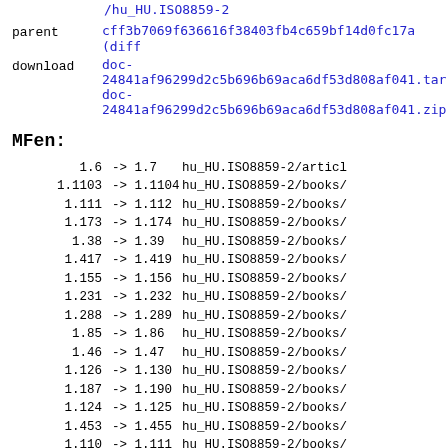/hu_HU.ISO8859-2
parent   cff3b7069f636616f38403fb4c659bf14d0fc17a (diff)
download doc-24841af96299d2c5b696b69aca6df53d808af041.tar.gz
doc-24841af96299d2c5b696b69aca6df53d808af041.zip
MFen:
1.6       -> 1.7      hu_HU.ISO8859-2/articl
1.1103    -> 1.1104   hu_HU.ISO8859-2/books/
1.111     -> 1.112    hu_HU.ISO8859-2/books/
1.173     -> 1.174    hu_HU.ISO8859-2/books/
1.38      -> 1.39     hu_HU.ISO8859-2/books/
1.417     -> 1.419    hu_HU.ISO8859-2/books/
1.155     -> 1.156    hu_HU.ISO8859-2/books/
1.231     -> 1.232    hu_HU.ISO8859-2/books/
1.288     -> 1.289    hu_HU.ISO8859-2/books/
1.85      -> 1.86     hu_HU.ISO8859-2/books/
1.46      -> 1.47     hu_HU.ISO8859-2/books/
1.126     -> 1.130    hu_HU.ISO8859-2/books/
1.187     -> 1.190    hu_HU.ISO8859-2/books/
1.124     -> 1.125    hu_HU.ISO8859-2/books/
1.453     -> 1.455    hu_HU.ISO8859-2/books/
1.110     -> 1.111    hu_HU.ISO8859-2/books/
1.285     -> 1.286    hu_HU.ISO8859-2/books/
1.44      -> 1.46     hu_HU.ISO8859-2/books/
1.130     -> 1.133    hu_HU.ISO8859-2/books/
1.45      -> 1.46     hu_HU.ISO8859-2/books/
1.6       -> 1.7      hu_HU.ISO8859-2/books/